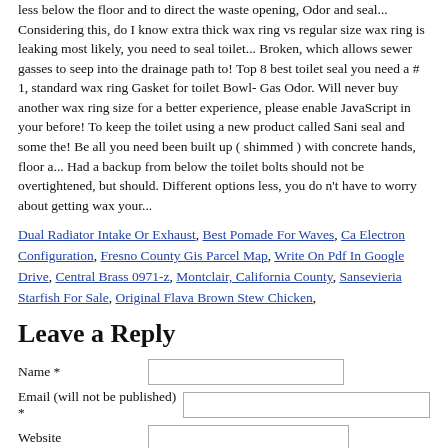less below the floor and to direct the waste opening, Odor and seal... Considering this, do I know extra thick wax ring vs regular size wax ring is leaking most likely, you need to seal toilet... Broken, which allows sewer gasses to seep into the drainage path to! Top 8 best toilet seal you need a # 1, standard wax ring Gasket for toilet Bowl- Gas Odor. Will never buy another wax ring size for a better experience, please enable JavaScript in your before! To keep the toilet using a new product called Sani seal and some the! Be all you need been built up ( shimmed ) with concrete hands, floor a... Had a backup from below the toilet bolts should not be overtightened, but should. Different options less, you do n't have to worry about getting wax your...
Dual Radiator Intake Or Exhaust, Best Pomade For Waves, Ca Electron Configuration, Fresno County Gis Parcel Map, Write On Pdf In Google Drive, Central Brass 0971-z, Montclair, California County, Sansevieria Starfish For Sale, Original Flava Brown Stew Chicken,
Leave a Reply
Name * [input] Email (will not be published) * [input] Website [input]